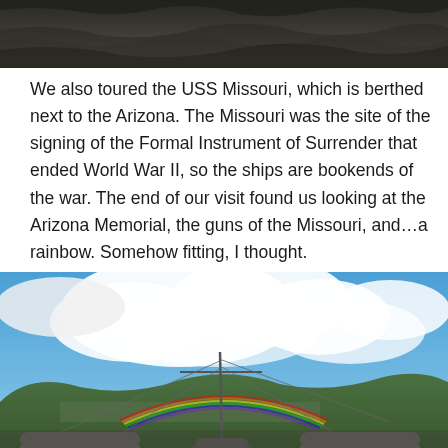[Figure (photo): Top portion of a photo showing dark rocky or mountainous terrain, cropped at top of page.]
We also toured the USS Missouri, which is berthed next to the Arizona. The Missouri was the site of the signing of the Formal Instrument of Surrender that ended World War II, so the ships are bookends of the war. The end of our visit found us looking at the Arizona Memorial, the guns of the Missouri, and…a rainbow. Somehow fitting, I thought.
[Figure (photo): Photo taken from the deck of the USS Missouri showing blue sky with large white clouds, a rainbow visible over green mountains in the background, ship mast and rigging lines visible, and large gun barrels in the foreground bottom.]